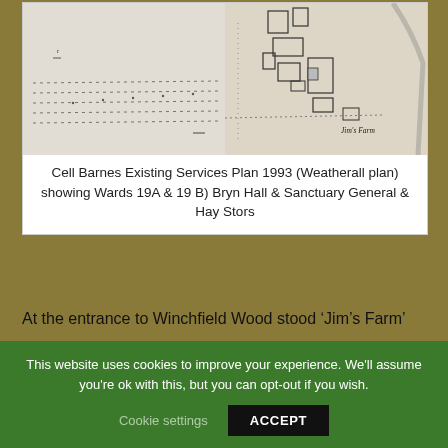[Figure (map): A historical cadastral or estate plan map (Cell Barnes Existing Services Plan 1993, Weatherall plan) showing Wards 19A and 19B, Bryn Hall and Sanctuary General and Hay Stors. The map is a black and white line drawing with building outlines, field boundaries, dotted lines, and the text 'Jim's Farm' visible in the lower right area.]
Cell Barnes Existing Services Plan 1993 (Weatherall plan) showing Wards 19A & 19 B) Bryn Hall & Sanctuary General & Hay Stors
At the entrance to Winchfield Wood stood ‘Jim’s Farm’
This website uses cookies to improve your experience. We'll assume you're ok with this, but you can opt-out if you wish.